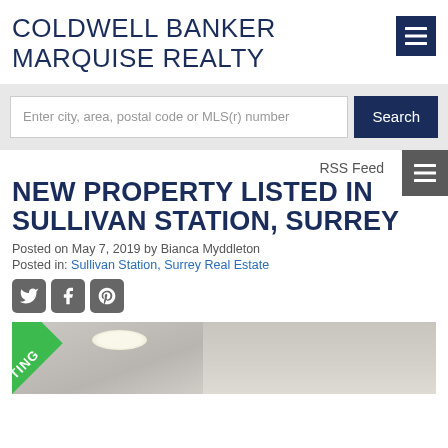COLDWELL BANKER MARQUISE REALTY
Enter city, area, postal code or MLS(r) number
Search
RSS Feed
NEW PROPERTY LISTED IN SULLIVAN STATION, SURREY
Posted on May 7, 2019 by Bianca Myddleton
Posted in: Sullivan Station, Surrey Real Estate
[Figure (photo): Interior room photo showing ceiling with lighting and a green LISTING banner in bottom-left corner]